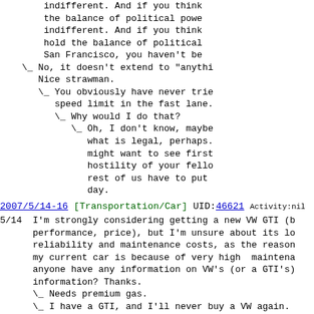indifferent. And if you think
    the balance of political powe
    indifferent. And if you think
    hold the balance of political
    San Francisco, you haven't be
\_ No, it doesn't extend to "anythi
    Nice strawman.
    \_ You obviously have never trie
        speed limit in the fast lane.
        \_ Why would I do that?
            \_ Oh, I don't know, maybe
                what is legal, perhaps.
                might want to see first
                hostility of your fello
                rest of us have to put
                day.
2007/5/14-16 [Transportation/Car] UID:46621 Activity:nil
5/14	I'm strongly considering getting a new VW GTI (b
	performance, price), but I'm unsure about its lo
	reliability and maintenance costs, as the reason
	my current car is because of very high  maintena
	anyone have any information on VW's (or a GTI's)
	information? Thanks.
	\_ Needs premium gas.
	\_ I have a GTI, and I'll never buy a VW again.
	        \_ Why? Can you explain a little more pl
	\_ I know a bunch of people who bought VW.  Ever
	   of them broke down, and most in a major way (
	   two, fan coming off shaft, alternator going,